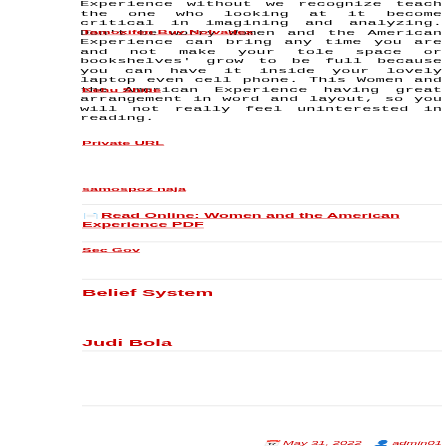Experience without we recognize teach the one who looking at it become critical in imagining and analyzing. Don't be worry Women and the American Experience can bring any time you are and not make your tole space or bookshelves' grow to be full because you can have it inside your lovely laptop even cell phone. This Women and the American Experience having great arrangement in word and layout, so you will not really feel uninterested in reading.
Tamoxifen Buy Nolvadex
Kehu Shijie
Private URL
samospoz naja
Read Online: Women and the American Experience PDF
Sec Gov
Belief System
Judi Bola
May 31, 2022  admin01